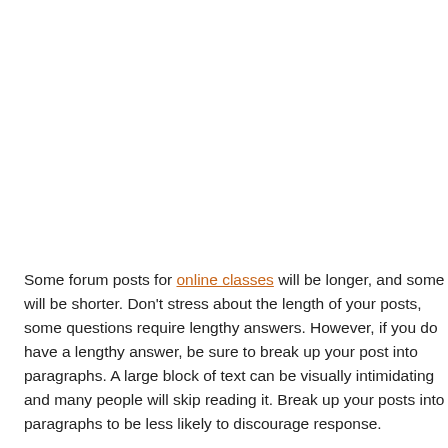Some forum posts for online classes will be longer, and some will be shorter. Don't stress about the length of your posts, some questions require lengthy answers. However, if you do have a lengthy answer, be sure to break up your post into paragraphs. A large block of unbroken text can be visually intimidating and many people will skip reading it. Break up your posts into paragraphs to be less likely to discourage response.
Be respectful
It's important to stay respectful of your fellow students. Avoid disparaging remarks as this can severely discourage discussion. Avoid adopting a condescending...